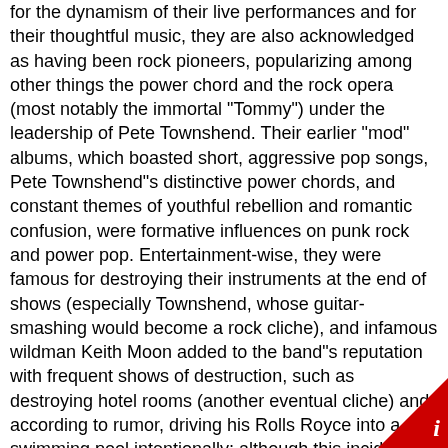for the dynamism of their live performances and for their thoughtful music, they are also acknowledged as having been rock pioneers, popularizing among other things the power chord and the rock opera (most notably the immortal "Tommy") under the leadership of Pete Townshend. Their earlier "mod" albums, which boasted short, aggressive pop songs, Pete Townshend"s distinctive power chords, and constant themes of youthful rebellion and romantic confusion, were formative influences on punk rock and power pop. Entertainment-wise, they were famous for destroying their instruments at the end of shows (especially Townshend, whose guitar-smashing would become a rock cliche), and infamous wildman Keith Moon added to the band"s reputation with frequent shows of destruction, such as destroying hotel rooms (another eventual cliche) and, according to rumor, driving his Rolls Royce into a swimming pool intentionally; although this incident never actually happened, it does seem like something the eccentric Moon would do. The original band members were: * Pete Townshend - guitar, primary composer, piano & synthesizer on studio recordings * Roger Daltrey - vocals, harmonica * Keith Moon - drummer * John Entwistle - bass guitar, brass instruments The band"s classic era, and in many respects the band itself, ended in 1978 with the untimely death of the inimitable Keith Moon. Sounds and performances On stage Early years Each of the eventual band members played in various early versions of The Who and in other groups.